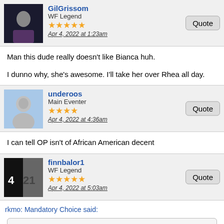GilGrissom
WF Legend
Apr 4, 2022 at 1:23am
Man this dude really doesn't like Bianca huh.

I dunno why, she's awesome. I'll take her over Rhea all day.
underoos
Main Eventer
Apr 4, 2022 at 4:36am
I can tell OP isn't of African American decent
finnbalor1
WF Legend
Apr 4, 2022 at 5:03am
rkmo: Mandatory Choice said:
WWFAttitudeEraFan said:
More than Undertaker. Austin (literally last night), Shawn Michaels, Bret Hart, Triple H, Rock, Hogan, Orton, Angle, Ric Flair, Edge, John Cena, etc. I can go on, and on, and on. The OP had to be joking, lol. At least I hope so.